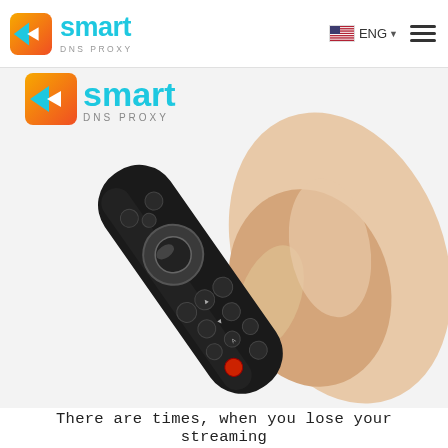Smart DNS Proxy — ENG navigation header
[Figure (screenshot): A hand holding a black Amazon Fire TV Stick remote control with voice search button and navigation ring, shown at an angle against a white background. In the upper-left corner, a partially visible Smart DNS Proxy logo is overlaid on the image.]
There are times, when you lose your streaming